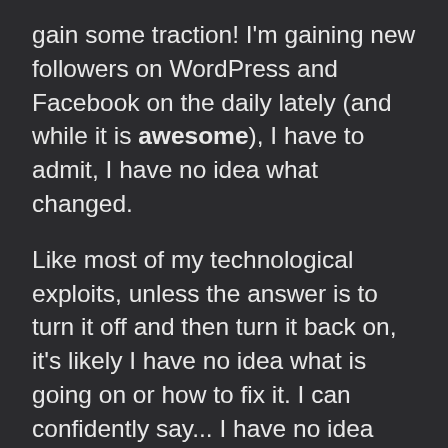gain some traction! I'm gaining new followers on WordPress and Facebook on the daily lately (and while it is awesome), I have to admit, I have no idea what changed.

Like most of my technological exploits, unless the answer is to turn it off and then turn it back on, it's likely I have no idea what is going on or how to fix it. I can confidently say... I have no idea what is going on. That being said, I AM SO GLAD YOU ARE HERE! Happy days! Sunny days! Sunny Daze, if you will!

I thought I would take a minute, via a blog post, to introduce myself to anyone who is new here... or just wants to know me more. As with most things, I will probably not conform with your